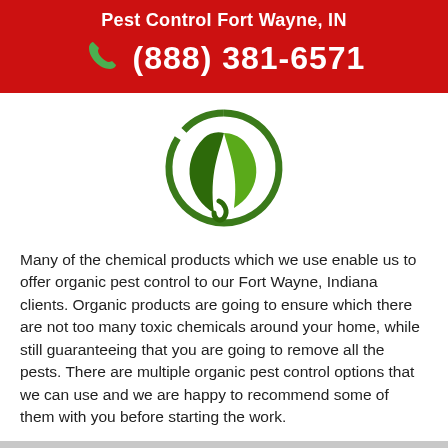Pest Control Fort Wayne, IN
(888) 381-6571
[Figure (logo): Green circular leaf/plant logo representing organic pest control]
Many of the chemical products which we use enable us to offer organic pest control to our Fort Wayne, Indiana clients. Organic products are going to ensure which there are not too many toxic chemicals around your home, while still guaranteeing that you are going to remove all the pests. There are multiple organic pest control options that we can use and we are happy to recommend some of them with you before starting the work.
BAT EXTERMINATION SERVICES